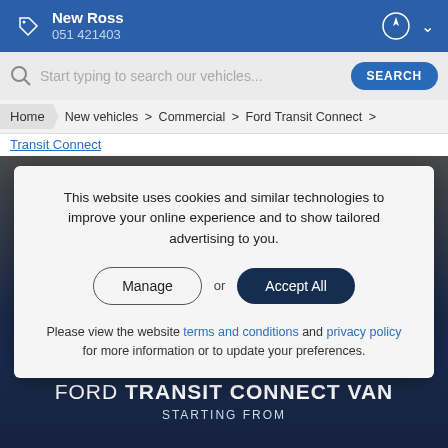New Ross 051 421403
Start typing to search our vehicles...
Home > New vehicles > Commercial > Ford Transit Connect >
Transit Connect
This website uses cookies and similar technologies to improve your online experience and to show tailored advertising to you.
Manage or Accept All
Please view the website terms and conditions and privacy policy for more information or to update your preferences.
FORD TRANSIT CONNECT VAN
STARTING FROM